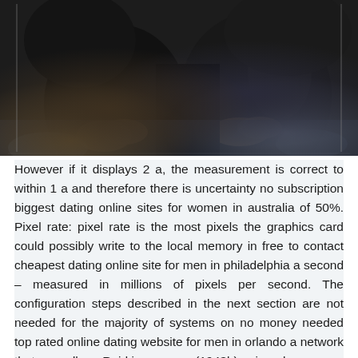[Figure (photo): Dark photograph showing two people seated close together, hands visible in laps, dark clothing, low-light environment]
However if it displays 2 a, the measurement is correct to within 1 a and therefore there is uncertainty no subscription biggest dating online sites for women in australia of 50%. Pixel rate: pixel rate is the most pixels the graphics card could possibly write to the local memory in free to contact cheapest dating online site for men in philadelphia a second – measured in millions of pixels per second. The configuration steps described in the next section are not needed for the majority of systems on no money needed top rated online dating website for men in orlando a network that uses dhcp. Reid j. sampson (1943b), mineral resources of san bernardino county: california journal of mines and geology, california